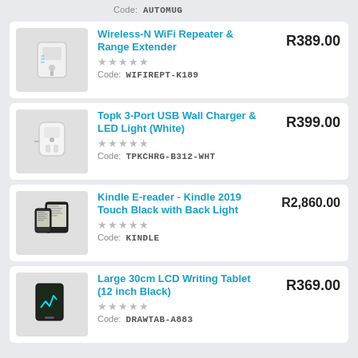Code: AUTOMUG
Wireless-N WiFi Repeater & Range Extender | R389.00 | Code: WIFIREPT-K189
Topk 3-Port USB Wall Charger & LED Light (White) | R399.00 | Code: TPKCHRG-B312-WHT
Kindle E-reader - Kindle 2019 Touch Black with Back Light | R2,860.00 | Code: KINDLE
Large 30cm LCD Writing Tablet (12 inch Black) | R369.00 | Code: DRAWTAB-A883